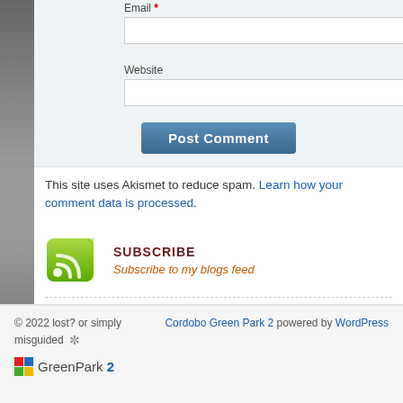Email *
Website
[Figure (screenshot): Post Comment button - blue gradient button]
This site uses Akismet to reduce spam. Learn how your comment data is processed.
[Figure (logo): Green RSS feed icon]
SUBSCRIBE
Subscribe to my blogs feed
PREVIOUS ENTRY
Wednesday Anime Post
NEXT ENTRY
Thursday Anime Post
© 2022 lost? or simply misguided   Cordobo Green Park 2 powered by WordPress
[Figure (logo): GreenPark 2 logo with colored squares]